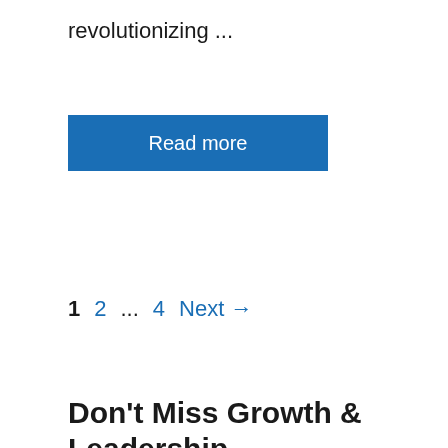revolutionizing ...
Read more
1  2  ...  4  Next →
Don't Miss Growth & Leadership